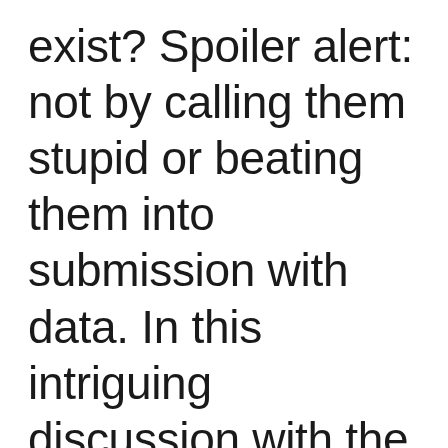exist? Spoiler alert: not by calling them stupid or beating them into submission with data. In this intriguing discussion with the Chief Narrative Officer of Odd Duck, I get a first-hand walkthrough of how we can combat